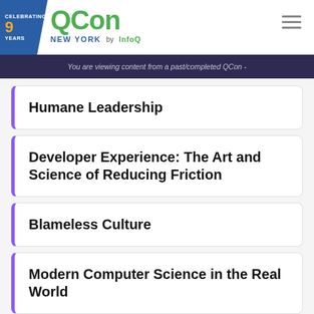QCon NEW YORK by InfoQ — Celebrating 9 Years
You are viewing content from a past/completed QCon -
Humane Leadership
Developer Experience: The Art and Science of Reducing Friction
Blameless Culture
Modern Computer Science in the Real World